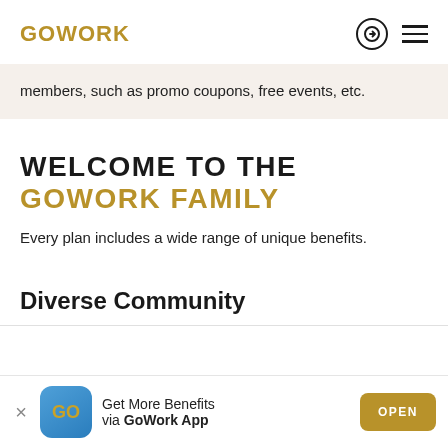GOWORK
members, such as promo coupons, free events, etc.
WELCOME TO THE
GOWORK FAMILY
Every plan includes a wide range of unique benefits.
Diverse Community
Get More Benefits via GoWork App OPEN